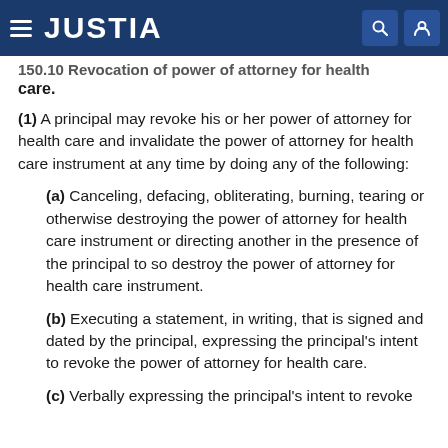JUSTIA
150.10 Revocation of power of attorney for health care.
(1) A principal may revoke his or her power of attorney for health care and invalidate the power of attorney for health care instrument at any time by doing any of the following:
(a) Canceling, defacing, obliterating, burning, tearing or otherwise destroying the power of attorney for health care instrument or directing another in the presence of the principal to so destroy the power of attorney for health care instrument.
(b) Executing a statement, in writing, that is signed and dated by the principal, expressing the principal's intent to revoke the power of attorney for health care.
(c) Verbally expressing the principal's intent to revoke